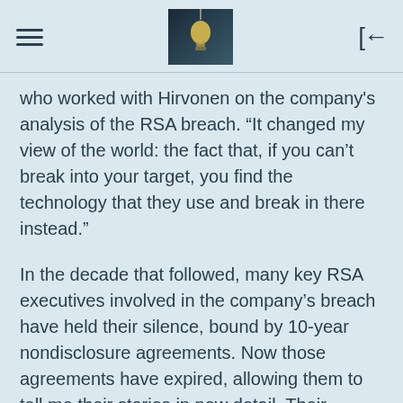[hamburger menu] [lightbulb image] [back button]
who worked with Hirvonen on the company's analysis of the RSA breach. “It changed my view of the world: the fact that, if you can’t break into your target, you find the technology that they use and break in there instead.”
In the decade that followed, many key RSA executives involved in the company’s breach have held their silence, bound by 10-year nondisclosure agreements. Now those agreements have expired, allowing them to tell me their stories in new detail. Their